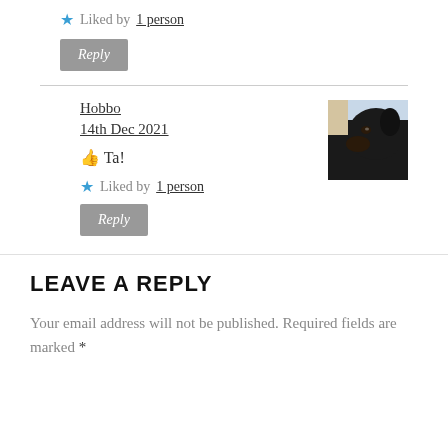★ Liked by 1 person
Reply
Hobbo
14th Dec 2021
[Figure (photo): Avatar photo of a black Labrador dog]
👍 Ta!
★ Liked by 1 person
Reply
LEAVE A REPLY
Your email address will not be published. Required fields are marked *